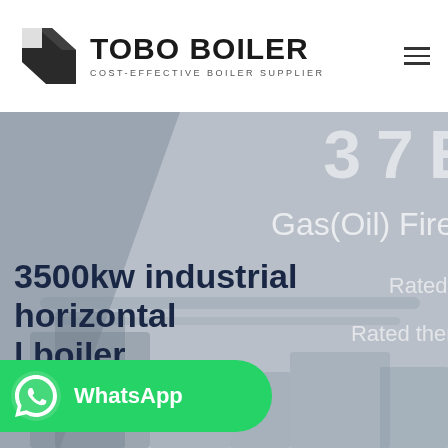[Figure (logo): TOBO BOILER logo with black geometric icon and text 'TOBO BOILER / COST-EFFECTIVE BOILER SUPPLIER']
[Figure (screenshot): Hero banner image with gray/blue industrial background showing boiler equipment. Overlaid text on right (partially clipped): large number '3 7 E', 'Gas(Oil) Fired', 'Rated th', 'Rated therm'. Bottom left bold dark blue heading: '3500kw industrial horizontal l boiler'. WhatsApp green button bottom left.]
3500kw industrial horizontal l boiler